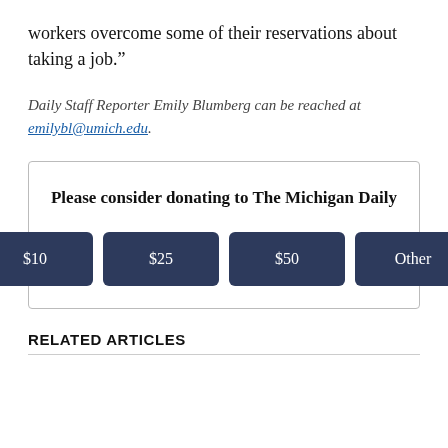workers overcome some of their reservations about taking a job.”
Daily Staff Reporter Emily Blumberg can be reached at emilybl@umich.edu.
Please consider donating to The Michigan Daily
[Figure (other): Donation box with four buttons: $10, $25, $50, Other]
RELATED ARTICLES